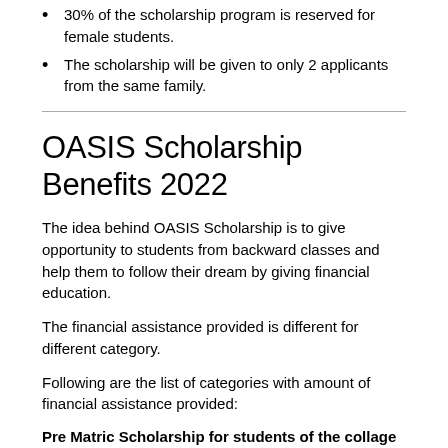30% of the scholarship program is reserved for female students.
The scholarship will be given to only 2 applicants from the same family.
OASIS Scholarship Benefits 2022
The idea behind OASIS Scholarship is to give opportunity to students from backward classes and help them to follow their dream by giving financial education.
The financial assistance provided is different for different category.
Following are the list of categories with amount of financial assistance provided:
Pre Matric Scholarship for students of the collage of Charleston